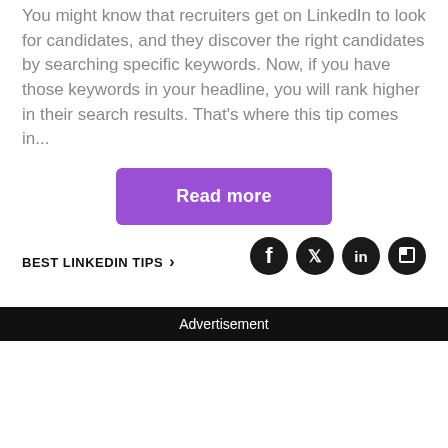You might know that recruiters get on LinkedIn to look for candidates, and they discover the right candidates by searching specific keywords. Now, if you have those keywords in your headline, you will rank higher in their search results. That's where this tip comes in...
[Figure (other): Purple 'Read more' button]
BEST LINKEDIN TIPS ›
[Figure (other): Social media icons: Facebook, Twitter, LinkedIn, Flipboard]
Advertisement